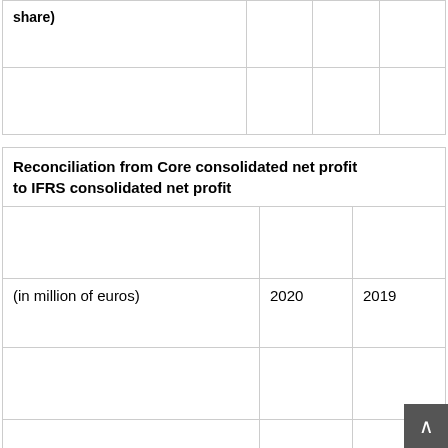| share) |  |  |  |
| --- | --- | --- | --- |
|  |  |  |  |
| Reconciliation from Core consolidated net profit to IFRS consolidated net profit |  |  |
| --- | --- | --- |
|  |  |  |
| (in million of euros) | 2020 | 2019 |
|  |  |  |
| Core consolidated net profit | 297.0 | 283.6 |